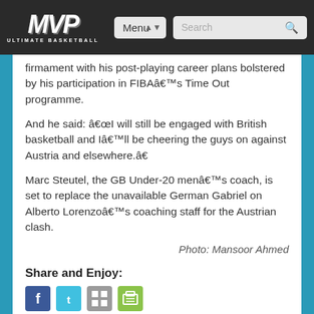MVP Ultimate Basketball — Menu | Search
firmament with his post-playing career plans bolstered by his participation in FIBAâ€™s Time Out programme.
And he said: â€œI will still be engaged with British basketball and Iâ€™ll be cheering the guys on against Austria and elsewhere.â€
Marc Steutel, the GB Under-20 menâ€™s coach, is set to replace the unavailable German Gabriel on Alberto Lorenzoâ€™s coaching staff for the Austrian clash.
Photo: Mansoor Ahmed
Share and Enjoy:
[Figure (other): Social sharing icons: Facebook, Twitter, MSN/Windows, Print]
Ad